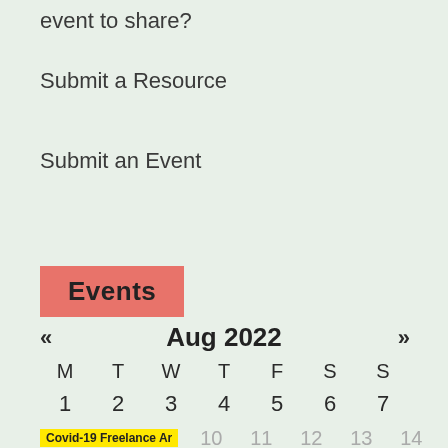event to share?
Submit a Resource
Submit an Event
Events
<< Aug 2022 >>
| M | T | W | T | F | S | S |
| --- | --- | --- | --- | --- | --- | --- |
| 1 | 2 | 3 | 4 | 5 | 6 | 7 |
|  | 10 | 11 | 12 | 13 | 14 |  |
Covid-19 Freelance Ar